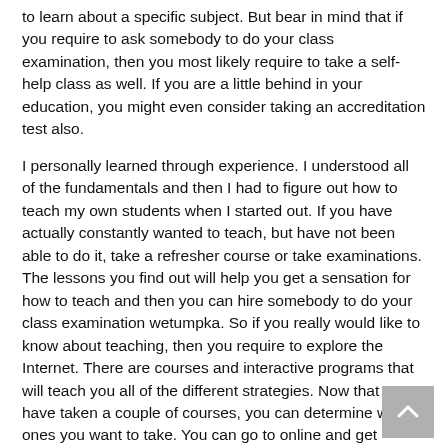to learn about a specific subject. But bear in mind that if you require to ask somebody to do your class examination, then you most likely require to take a self-help class as well. If you are a little behind in your education, you might even consider taking an accreditation test also.
I personally learned through experience. I understood all of the fundamentals and then I had to figure out how to teach my own students when I started out. If you have actually constantly wanted to teach, but have not been able to do it, take a refresher course or take examinations. The lessons you find out will help you get a sensation for how to teach and then you can hire somebody to do your class examination wetumpka. So if you really would like to know about teaching, then you require to explore the Internet. There are courses and interactive programs that will teach you all of the different strategies. Now that you have taken a couple of courses, you can determine which ones you want to take. You can go to online and get certified or you can search for somebody to do your exam wetumpka alabama.